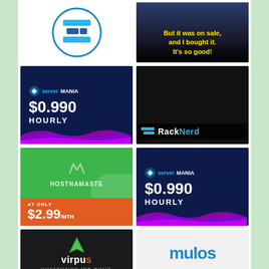[Figure (logo): Oval logo with blue horizontal bars/stripes icon inside a blue oval border]
[Figure (photo): Dark meme image with text 'But it was on sale, and I bought it. It's so good!' in yellow bold font]
[Figure (advertisement): ServerMania ad: dark blue background, price $0.990 HOURLY, colorful wave at bottom]
[Figure (advertisement): RackNerd ad: dark background showing server racks, RackNerd logo at bottom]
[Figure (advertisement): HostNamaste ad: green and orange background, logo and AT ONLY $2.99/MTH]
[Figure (advertisement): ServerMania ad: dark blue background, price $0.990 HOURLY, colorful wave at bottom]
[Figure (logo): Virpus logo: green chevron logo mark, 'virpus' text with orange 's', 'virtualizing the world' subtitle on dark background]
[Figure (logo): Mulos logo: blue stylized text 'mulos' on light gray background]